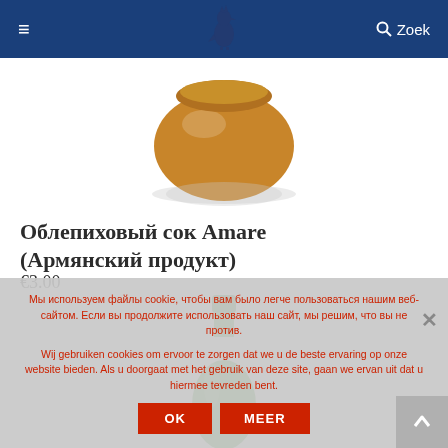≡  [logo]  🔍 Zoek
[Figure (photo): Bottom of a round jar with brownish/caramel contents, seen from above, white background]
Облепиховый сок Amare (Армянский продукт)
€3.00
[Figure (photo): Top of a green bottle with green cap, partially visible]
Мы используем файлы cookie, чтобы вам было легче пользоваться нашим веб-сайтом. Если вы продолжите использовать наш сайт, мы решим, что вы не против.
Wij gebruiken cookies om ervoor te zorgen dat we u de beste ervaring op onze website bieden. Als u doorgaat met het gebruik van deze site, gaan we ervan uit dat u hiermee tevreden bent.
OK   MEER